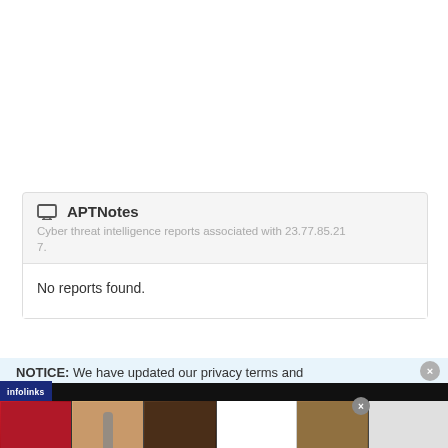[Figure (screenshot): APTNotes website card showing 'No reports found' for IP 23.77.85.217, with a privacy notice bar and an Ulta Beauty advertisement strip at the bottom with infolinks branding]
APTNotes
Cyber threat intelligence reports associated with 23.77.85.217.
No reports found.
NOTICE: We have updated our privacy terms and
[Figure (photo): Ulta Beauty advertisement strip showing makeup images (lips, brush, eye, Ulta logo, eye) with SHOP NOW text]